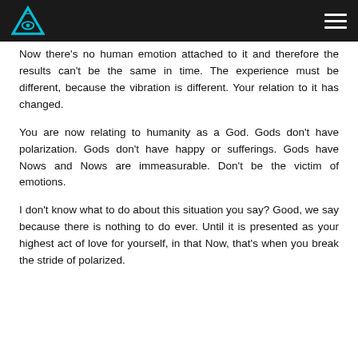[Logo] [Hamburger menu]
Now there's no human emotion attached to it and therefore the results can't be the same in time. The experience must be different, because the vibration is different. Your relation to it has changed.
You are now relating to humanity as a God. Gods don't have polarization. Gods don't have happy or sufferings. Gods have Nows and Nows are immeasurable. Don't be the victim of emotions.
I don't know what to do about this situation you say? Good, we say because there is nothing to do ever. Until it is presented as your highest act of love for yourself, in that Now, that's when you break the stride of polarized.